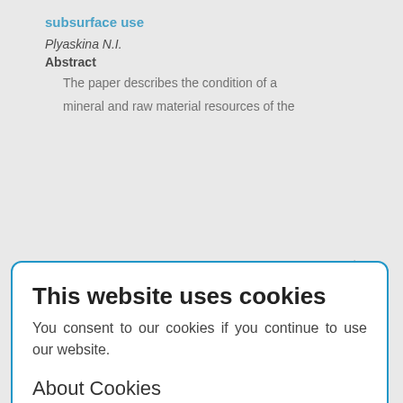subsurface use
Plyaskina N.I.
Abstract
The paper describes the condition of a mineral and raw material resources of the
[Figure (screenshot): Cookie consent modal dialog with blue border. Title: 'This website uses cookies'. Body text: 'You consent to our cookies if you continue to use our website.' Section: 'About Cookies'. OK button in blue.]
Attokurova N.S.
Abstract
As the world experience shows mineral resources play the key role in economic safety